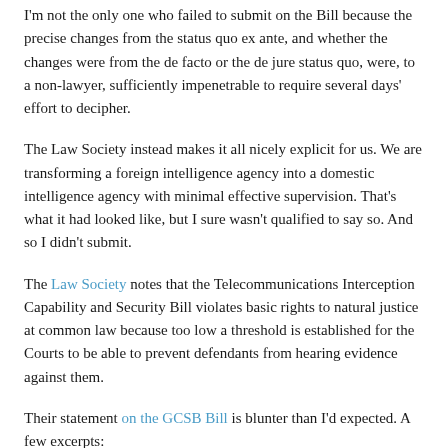I'm not the only one who failed to submit on the Bill because the precise changes from the status quo ex ante, and whether the changes were from the de facto or the de jure status quo, were, to a non-lawyer, sufficiently impenetrable to require several days' effort to decipher.
The Law Society instead makes it all nicely explicit for us. We are transforming a foreign intelligence agency into a domestic intelligence agency with minimal effective supervision. That's what it had looked like, but I sure wasn't qualified to say so. And so I didn't submit.
The Law Society notes that the Telecommunications Interception Capability and Security Bill violates basic rights to natural justice at common law because too low a threshold is established for the Courts to be able to prevent defendants from hearing evidence against them.
Their statement on the GCSB Bill is blunter than I'd expected. A few excerpts:
The Bill is intrusive. It would empower the GCSB to